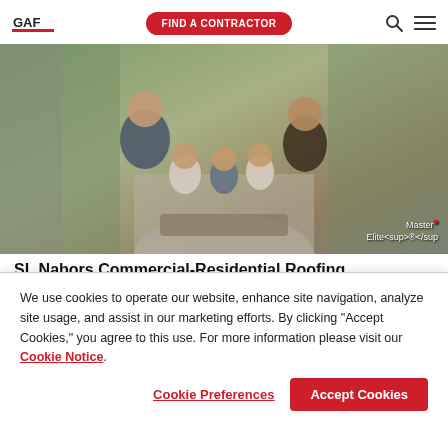GAF | FIND A CONTRACTOR
[Figure (photo): Family photo of two adults and three young children posing together outdoors on a road/path, with trees in background. Bottom-right corner shows 'Master Elite®' watermark text.]
SL Nabors Commercial-Residential Roofing
We use cookies to operate our website, enhance site navigation, analyze site usage, and assist in our marketing efforts. By clicking "Accept Cookies," you agree to this use. For more information please visit our Cookie Notice.
Cookie Preferences | Accept Cookies